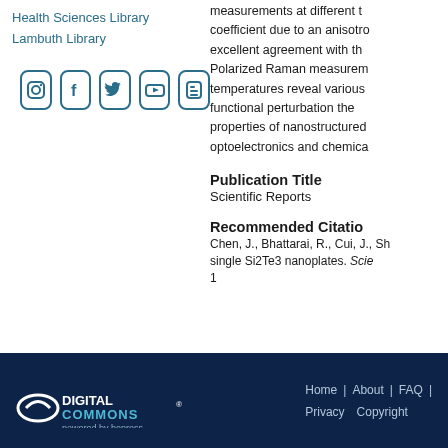Health Sciences Library
Lambuth Library
[Figure (other): Social media icons: Instagram, Facebook, Twitter, YouTube, Blogger]
measurements at different t coefficient due to an anisotro excellent agreement with th Polarized Raman measurem temperatures reveal various functional perturbation the properties of nanostructured optoelectronics and chemica
Publication Title
Scientific Reports
Recommended Citation
Chen, J., Bhattarai, R., Cui, J., Sh single Si2Te3 nanoplates. Scie 1
Digital Commons powered by bepress | Home | About | FAQ | Privacy | Copyright